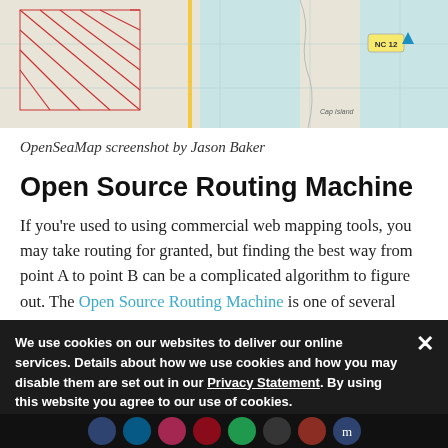[Figure (screenshot): OpenSeaMap screenshot showing coastal map with light teal water, road markings, a red hatched area on the left, and NC 12 highway marker near the coast.]
OpenSeaMap screenshot by Jason Baker
Open Source Routing Machine
If you're used to using commercial web mapping tools, you may take routing for granted, but finding the best way from point A to point B can be a complicated algorithm to figure out. The Open Source Routing Machine is one of several open source projects helping bring open source wayfinding to open data sources.
We use cookies on our websites to deliver our online services. Details about how we use cookies and how you may disable them are set out in our Privacy Statement. By using this website you agree to our use of cookies.